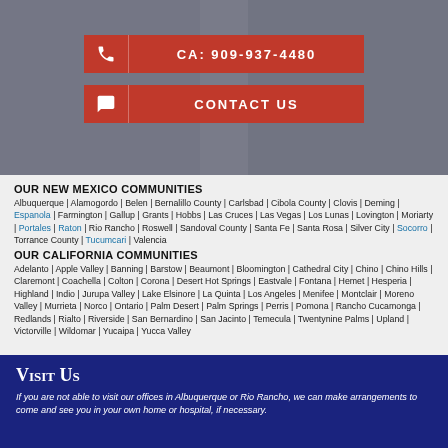[Figure (photo): Background photo of law office with people]
CA: 909-937-4480
CONTACT US
OUR NEW MEXICO COMMUNITIES
Albuquerque | Alamogordo | Belen | Bernalillo County | Carlsbad | Cibola County | Clovis | Deming | Espanola | Farmington | Gallup | Grants | Hobbs | Las Cruces | Las Vegas | Los Lunas | Lovington | Moriarty | Portales | Raton | Rio Rancho | Roswell | Sandoval County | Santa Fe | Santa Rosa | Silver City | Socorro | Torrance County | Tucumcari | Valencia
OUR CALIFORNIA COMMUNITIES
Adelanto | Apple Valley | Banning | Barstow | Beaumont | Bloomington | Cathedral City | Chino | Chino Hills | Claremont | Coachella | Colton | Corona | Desert Hot Springs | Eastvale | Fontana | Hemet | Hesperia | Highland | Indio | Jurupa Valley | Lake Elsinore | La Quinta | Los Angeles | Menifee | Montclair | Moreno Valley | Murrieta | Norco | Ontario | Palm Desert | Palm Springs | Perris | Pomona | Rancho Cucamonga | Redlands | Rialto | Riverside | San Bernardino | San Jacinto | Temecula | Twentynine Palms | Upland | Victorville | Wildomar | Yucaipa | Yucca Valley
Visit Us
If you are not able to visit our offices in Albuquerque or Rio Rancho, we can make arrangements to come and see you in your own home or hospital, if necessary.